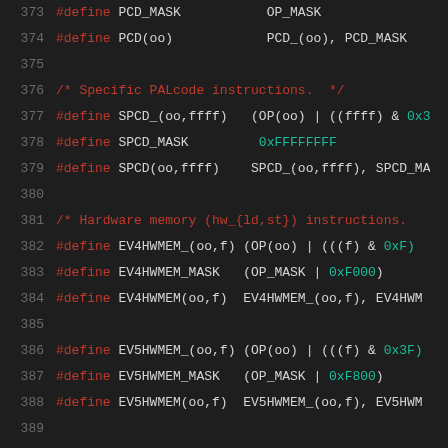[Figure (screenshot): Source code listing showing C preprocessor #define macros for CPU instruction set definitions (PCD, SPCD, EV4HWMEM, EV5HWMEM, EV6HWMEM, EV6HWMBR), with line numbers 373-394, on dark background. Keywords in red, hex values in teal.]